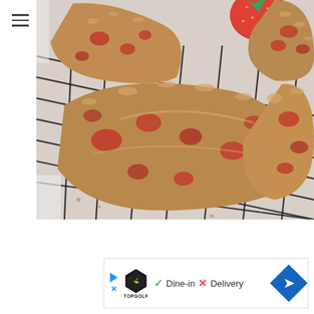[Figure (photo): Strawberry oat scones on a wire cooling rack, with a fresh strawberry visible in the upper right corner. The scones are triangular/wedge-shaped, golden-brown with visible red strawberry pieces and oat topping. Multiple scones are visible on the rack against a white background.]
[Figure (infographic): Advertisement banner for Topgolf showing the Topgolf shield logo, a checkmark with 'Dine-in', an X with 'Delivery', and a blue diamond navigation arrow icon on the right.]